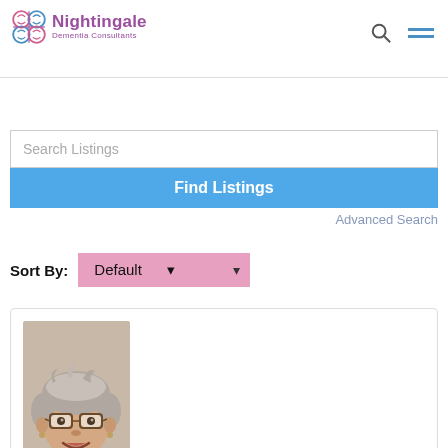Nightingale Dementia Consultants
Search Listings
Find Listings
Advanced Search
Sort By: Default
[Figure (photo): Portrait photo of an older woman with short gray hair and glasses, wearing a red top, smiling.]